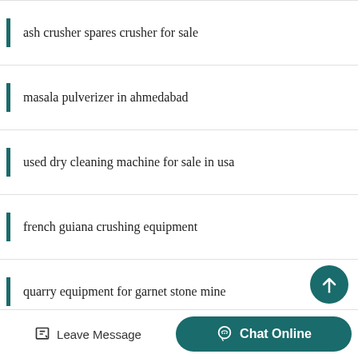ash crusher spares crusher for sale
masala pulverizer in ahmedabad
used dry cleaning machine for sale in usa
french guiana crushing equipment
quarry equipment for garnet stone mine
cost per ton of gravel crusher in the pembroke area code
ballast crusher kenya limited priceatafinch
copper mining equipment copper mining machine in ghana za...
Leave Message
Chat Online